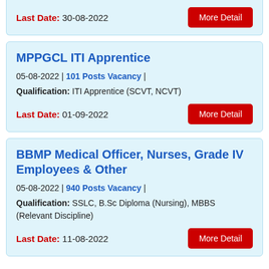Last Date: 30-08-2022
MPPGCL ITI Apprentice
05-08-2022 | 101 Posts Vacancy |
Qualification: ITI Apprentice (SCVT, NCVT)
Last Date: 01-09-2022
BBMP Medical Officer, Nurses, Grade IV Employees & Other
05-08-2022 | 940 Posts Vacancy |
Qualification: SSLC, B.Sc Diploma (Nursing), MBBS (Relevant Discipline)
Last Date: 11-08-2022